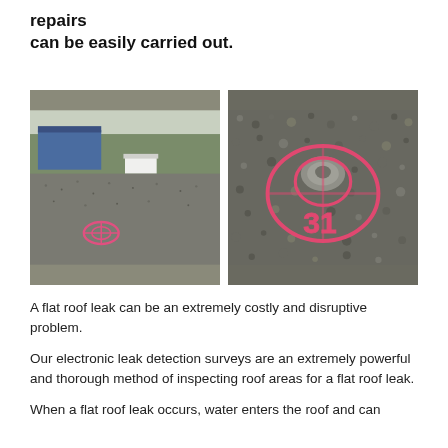repairs
can be easily carried out.
[Figure (photo): Two side-by-side photos of a flat roof surface. Left photo shows a wide view of a gravel flat roof with a building and trees in the background, and pink spray-painted markings on the roof surface. Right photo is a close-up of the gravel roof surface showing pink spray-painted circles and the number 31, indicating detected leak locations.]
A flat roof leak can be an extremely costly and disruptive problem.
Our electronic leak detection surveys are an extremely powerful and thorough method of inspecting roof areas for a flat roof leak.
When a flat roof leak occurs, water enters the roof and can